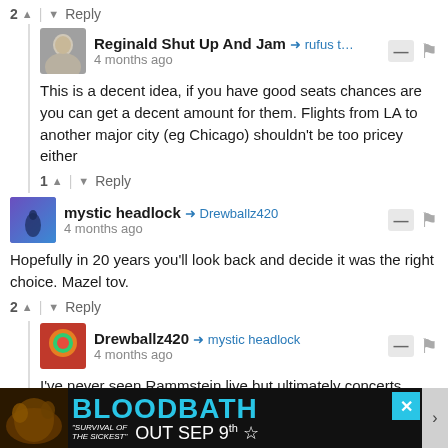2 ^ | v Reply
Reginald Shut Up And Jam → rufus t... | 4 months ago
This is a decent idea, if you have good seats chances are you can get a decent amount for them. Flights from LA to another major city (eg Chicago) shouldn't be too pricey either
1 ^ | v Reply
mystic headlock → Drewballz420 | 4 months ago
Hopefully in 20 years you'll look back and decide it was the right choice. Mazel tov.
2 ^ | v Reply
Drewballz420 → mystic headlock | 4 months ago
I've never seen Rammstein live but ultimately concerts c... much b...
[Figure (screenshot): Advertisement banner for Bloodbath 'Survival of the Sickest' album, Out Sep 9th]